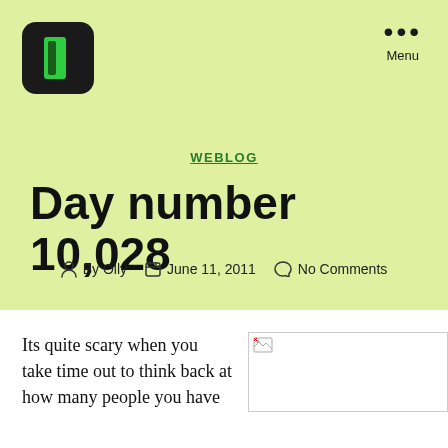[Figure (logo): Black rounded square logo with green rectangle inside, representing a book/journal app]
Menu
WEBLOG
Day number 10,028
By Olly   June 11, 2011   No Comments
Its quite scary when you take time out to think back at how many people you have
[Figure (photo): Broken image placeholder]